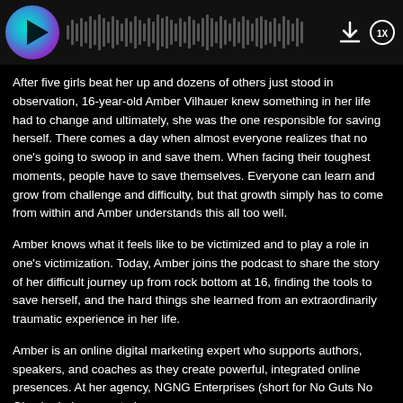[Figure (screenshot): Podcast audio player bar with circular play button (teal/purple gradient), audio waveform visualization, download icon, and 1x speed button on black background]
After five girls beat her up and dozens of others just stood in observation, 16-year-old Amber Vilhauer knew something in her life had to change and ultimately, she was the one responsible for saving herself. There comes a day when almost everyone realizes that no one's going to swoop in and save them. When facing their toughest moments, people have to save themselves. Everyone can learn and grow from challenge and difficulty, but that growth simply has to come from within and Amber understands this all too well.
Amber knows what it feels like to be victimized and to play a role in one's victimization. Today, Amber joins the podcast to share the story of her difficult journey up from rock bottom at 16, finding the tools to save herself, and the hard things she learned from an extraordinarily traumatic experience in her life.
Amber is an online digital marketing expert who supports authors, speakers, and coaches as they create powerful, integrated online presences. At her agency, NGNG Enterprises (short for No Guts No Glory), she's supported